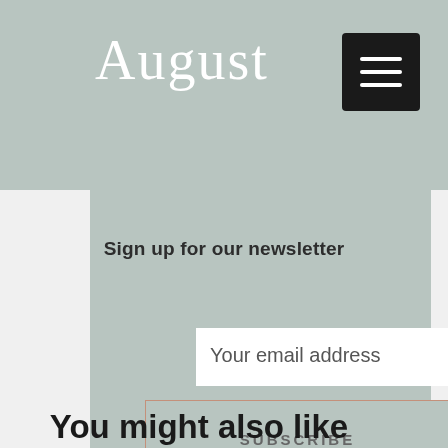August
Sign up for our newsletter
Your email address
SUBSCRIBE
You might also like